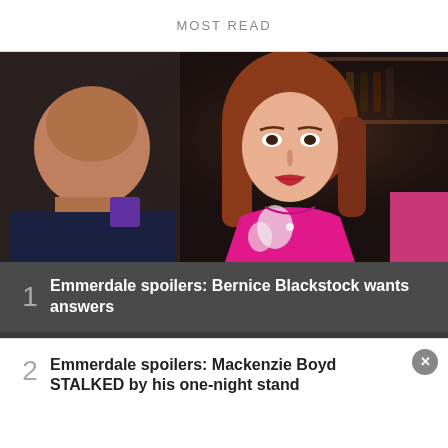MOST READ
[Figure (photo): Two people in a pub interior: an older bald man facing away on the left, and a woman with auburn hair wearing a bright pink top with floral detail looking directly at camera with a serious expression.]
1  Emmerdale spoilers: Bernice Blackstock wants answers
2  Emmerdale spoilers: Mackenzie Boyd STALKED by his one-night stand